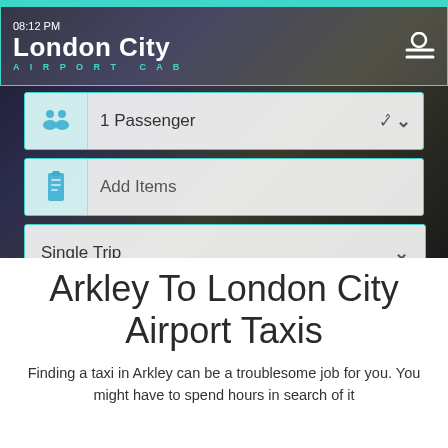[Figure (screenshot): London City Airport Cab app interface showing navigation bar with logo and time 08:12 PM, passenger selector showing 1 Passenger, Add Items field, Single Trip dropdown, and GET QUOTES button with phone icon]
Arkley To London City Airport Taxis
Finding a taxi in Arkley can be a troublesome job for you. You might have to spend hours in search of it